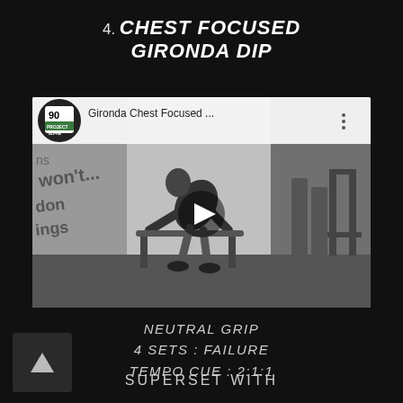4. CHEST FOCUSED GIRONDA DIP
[Figure (screenshot): YouTube video thumbnail showing 'Gironda Chest Focused ...' with a person doing dips in a gym, black and white image, with the 90 Project Alpha channel logo]
NEUTRAL GRIP
4 SETS : FAILURE
TEMPO CUE : 2:1:1
SUPERSET WITH